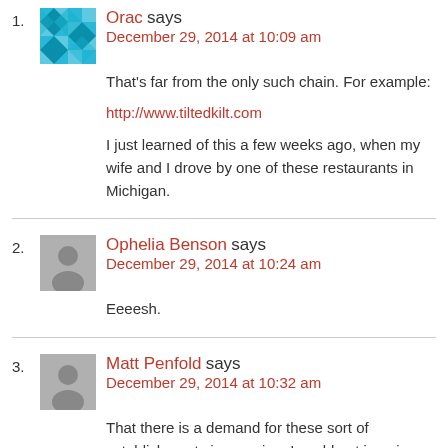1. Orac says
December 29, 2014 at 10:09 am
That's far from the only such chain. For example:
http://www.tiltedkilt.com
I just learned of this a few weeks ago, when my wife and I drove by one of these restaurants in Michigan.
2. Ophelia Benson says
December 29, 2014 at 10:24 am
Eeeesh.
3. Matt Penfold says
December 29, 2014 at 10:32 am
That there is a demand for these sort of establishments is worrying. I could not imagine a worse way of spending an evening. Well I can, but not one that does involve hospitals and the like.